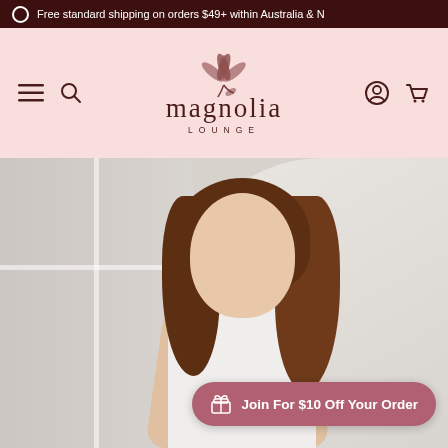Free standard shipping on orders $49+ within Australia & N
[Figure (logo): Magnolia Lounge brand logo with magnolia flower illustration above the text 'magnolia LOUNGE' in serif font on pink background, with hamburger menu, search, account, and cart icons]
[Figure (photo): Woman with brown wavy hair smiling, wearing a white sleeveless top, photographed in front of a bright window with white background]
Join For $10 Off Your Order